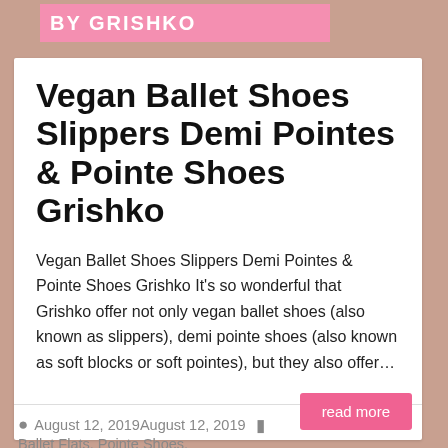BY GRISHKO
Vegan Ballet Shoes Slippers Demi Pointes & Pointe Shoes Grishko
Vegan Ballet Shoes Slippers Demi Pointes & Pointe Shoes Grishko It's so wonderful that Grishko offer not only vegan ballet shoes (also known as slippers), demi pointe shoes (also known as soft blocks or soft pointes), but they also offer…
August 12, 2019August 12, 2019   Ballet Flats, Pointe Shoes, videos   No Comments
read more